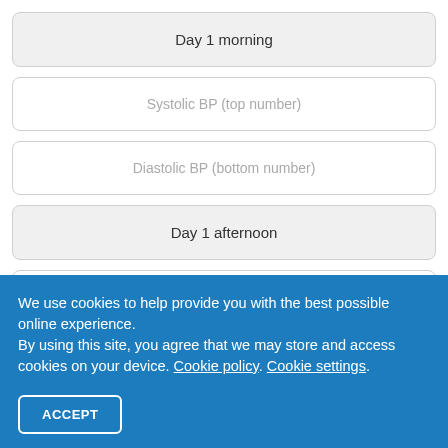Day 1 morning
Systolic BP (top number)
Diastolic BP (bottom number)
Day 1 afternoon
Systolic BP (top number)
Diastolic BP (bottom number)
We use cookies to help provide you with the best possible online experience.
By using this site, you agree that we may store and access cookies on your device. Cookie policy. Cookie settings.
ACCEPT